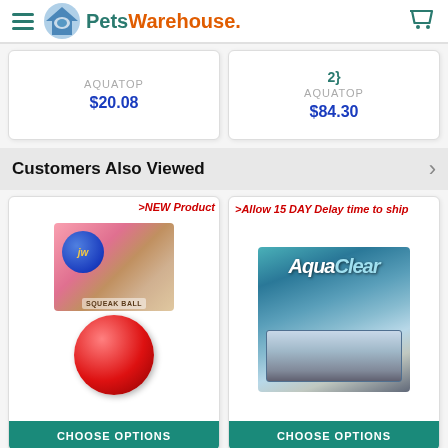Pets Warehouse
AQUATOP $20.08
2} AQUATOP $84.30
Customers Also Viewed
>NEW Product
[Figure (photo): JW puppy squeak toy product image and red ball toy]
>Allow 15 DAY Delay time to ship
[Figure (photo): AquaClear aquarium power filter product box]
CHOOSE OPTIONS
CHOOSE OPTIONS